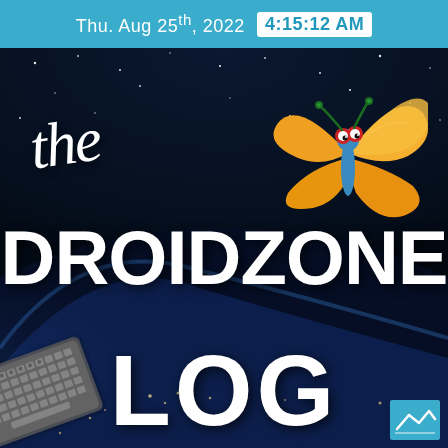Thu. Aug 25th, 2022  4:15:12 AM
[Figure (illustration): Earth viewed from space at night with city lights visible, dark blue space background with stars, used as background image]
the DROIDZONE LOG
[Figure (illustration): Cartoon butterfly with orange wings, blue body, and red eyes with green antennae - mascot logo]
[Figure (illustration): Keyboard shown at bottom left corner at an angle]
[Figure (logo): Small teal square logo at bottom right corner]